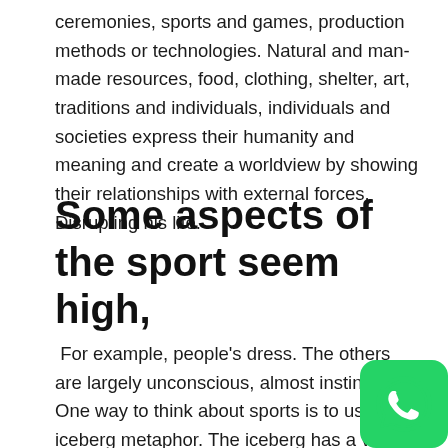ceremonies, sports and games, production methods or technologies. Natural and man-made resources, food, clothing, shelter, art, traditions and individuals, individuals and societies express their humanity and meaning and create a worldview by showing their relationships with external forces. Disrupting his life.
Some aspects of the sport seem high,
For example, people's dress. The others are largely unconscious, almost instinctive. One way to think about sports is to use the iceberg metaphor. The iceberg has a visible part above the waterline and a larger and invisible part below it. In the same way, we have aspects that are visible, known, and known, but there are other aspects
[Figure (logo): WhatsApp logo icon — green rounded square with white phone handset silhouette]